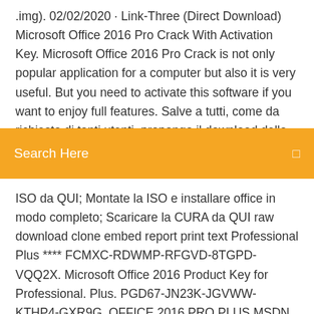.img). 02/02/2020 · Link-Three (Direct Download) Microsoft Office 2016 Pro Crack With Activation Key. Microsoft Office 2016 Pro Crack is not only popular application for a computer but also it is very useful. But you need to activate this software if you want to enjoy full features. Salve a tutti, come da richiesta di tanti utenti, propongo il download della suite Office 2016
Search Here
ISO da QUI; Montate la ISO e installare office in modo completo; Scaricare la CURA da QUI raw download clone embed report print text Professional Plus **** FCMXC-RDWMP-RFGVD-8TGPD-VQQ2X. Microsoft Office 2016 Product Key for Professional. Plus. PGD67-JN23K-JGVWW-KTHP4-GXR9G. OFFICE 2016 PRO PLUS MSDN RETAIL: [New Key1]: B9GN2-DXXQC-9DHKT-GGWCR-4X6XK [New Key2]: 6PMNJ-Q33T3-VJQFJ-23D3H-6XVTX [Tested working on Jan 1st. 2016 Microsoft Office 2016 Professional Plus Free Download.